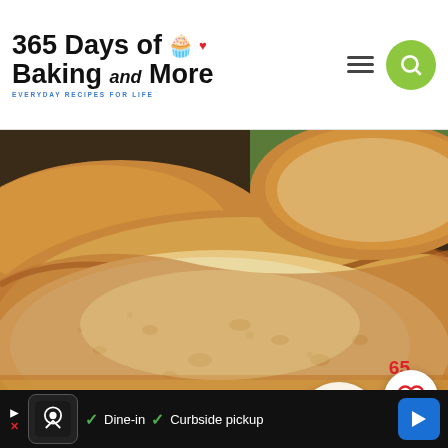365 Days of Baking and More — EVERYDAY RECIPES FOR LIFE
[Figure (photo): Close-up photo of sliced homemade bread showing golden-brown crust and dense crumb texture]
65 (save count / likes)
[Figure (logo): 365 Days of Baking and More watermark logo circle in bottom right of image]
▶ X  [Ad logo]  ✓ Dine-in  ✓ Curbside pickup  [navigation arrow]